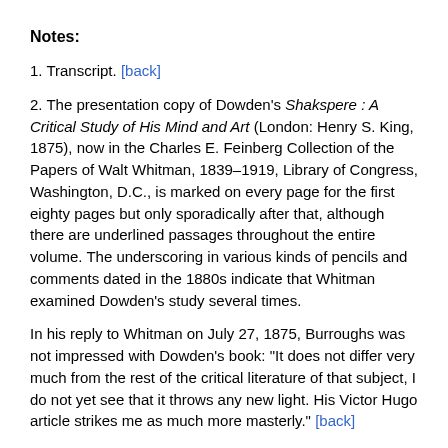Notes:
1. Transcript. [back]
2. The presentation copy of Dowden's Shakspere : A Critical Study of His Mind and Art (London: Henry S. King, 1875), now in the Charles E. Feinberg Collection of the Papers of Walt Whitman, 1839–1919, Library of Congress, Washington, D.C., is marked on every page for the first eighty pages but only sporadically after that, although there are underlined passages throughout the entire volume. The underscoring in various kinds of pencils and comments dated in the 1880s indicate that Whitman examined Dowden's study several times.
In his reply to Whitman on July 27, 1875, Burroughs was not impressed with Dowden's book: "It does not differ very much from the rest of the critical literature of that subject, I do not yet see that it throws any new light. His Victor Hugo article strikes me as much more masterly." [back]